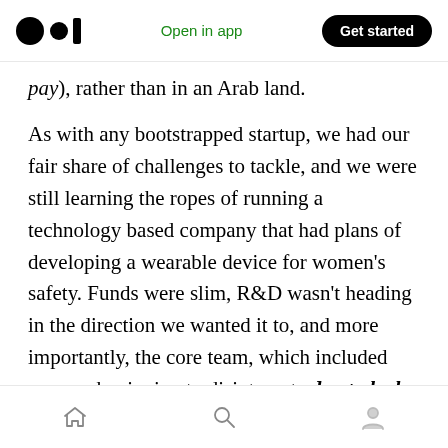Medium app header: logo, Open in app, Get started
pay), rather than in an Arab land.
As with any bootstrapped startup, we had our fair share of challenges to tackle, and we were still learning the ropes of running a technology based company that had plans of developing a wearable device for women's safety. Funds were slim, R&D wasn't heading in the direction we wanted it to, and more importantly, the core team, which included me,was beginning to disintegrate due to lack of direction and grit.
In addition to all of this, I had pressure mounting
Bottom navigation bar with home, search, and profile icons